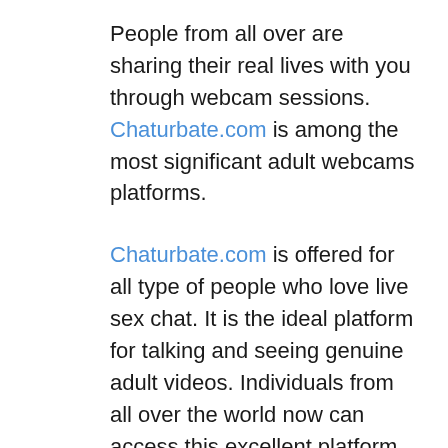People from all over are sharing their real lives with you through webcam sessions. Chaturbate.com is among the most significant adult webcams platforms.
Chaturbate.com is offered for all type of people who love live sex chat. It is the ideal platform for talking and seeing genuine adult videos. Individuals from all over the world now can access this excellent platform.
Chaturbate.com is the best location for online live sex chat. The very best aspect